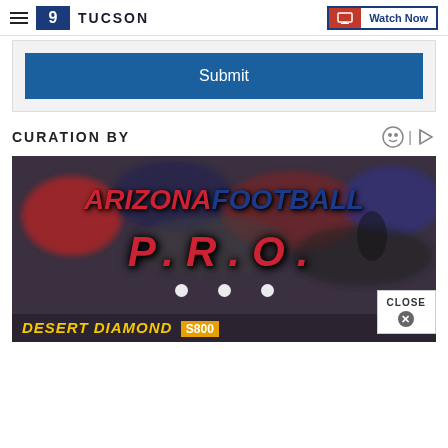9 TUCSON | Watch Now
[Figure (screenshot): Submit button — blue rectangle with white text 'Submit']
CURATION BY
[Figure (photo): Arizona Football Pro advertisement banner over a crowd photo, with text 'ARIZONA FOOTBALL PRO' and 'DESERT DIAMOND' and three white dots navigation indicators]
CLOSE